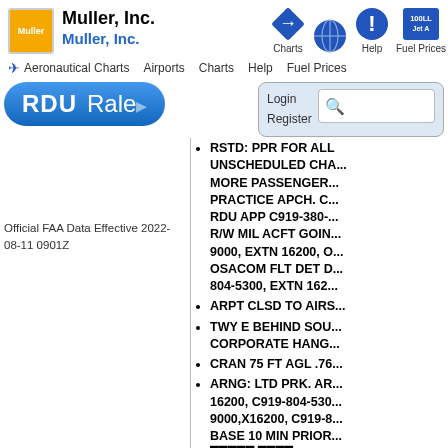Muller, Inc. — Muller, Inc. | Aeronautical Charts | Airports | Charts | Help | Fuel Prices
[Figure (screenshot): Website header with Muller Inc. logo, navigation icons (Charts, Help, Fuel Prices), RDU airport search bar, Login/Register, and search input]
Official FAA Data Effective 2022-08-11 0901Z
RSTD: PPR FOR ALL UNSCHEDULED CHA... MORE PASSENGER... PRACTICE APCH. C... RDU APP C919-380-... R/W MIL ACFT GOIN... 9000, EXTN 16200, O... OSACOM FLT DET D... 804-5300, EXTN 162...
ARPT CLSD TO AIRS...
TWY E BEHIND SOU... CORPORATE HANG...
CRAN 75 FT AGL .76...
ARNG: LTD PRK. AR... 16200, C919-804-530... 9000,X16200, C919-8... BASE 10 MIN PRIOR... [continues]